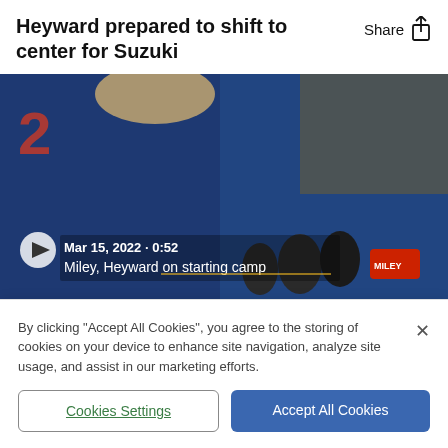Heyward prepared to shift to center for Suzuki
[Figure (screenshot): Video thumbnail showing two Chicago Cubs players in blue jerseys being interviewed with multiple microphones. Overlay text reads: Mar 15, 2022 · 0:52 / Miley, Heyward on starting camp. Play button visible on left.]
By clicking "Accept All Cookies", you agree to the storing of cookies on your device to enhance site navigation, analyze site usage, and assist in our marketing efforts.
Cookies Settings
Accept All Cookies